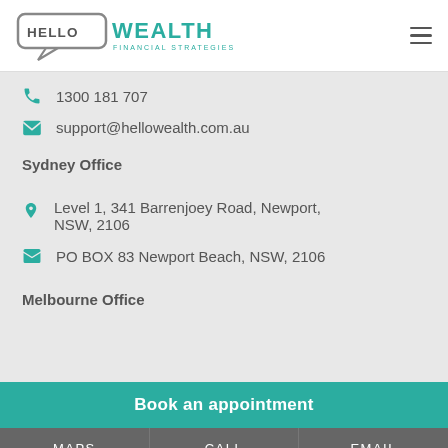[Figure (logo): Hello Wealth Financial Strategies logo — speech bubble with 'HELLO' inside, 'WEALTH' in teal, 'FINANCIAL STRATEGIES' in small teal text below]
1300 181 707
support@hellowealth.com.au
Sydney Office
Level 1, 341 Barrenjoey Road, Newport, NSW, 2106
PO BOX 83 Newport Beach, NSW, 2106
Melbourne Office
Book an appointment
MAPS   CALL   EMAIL